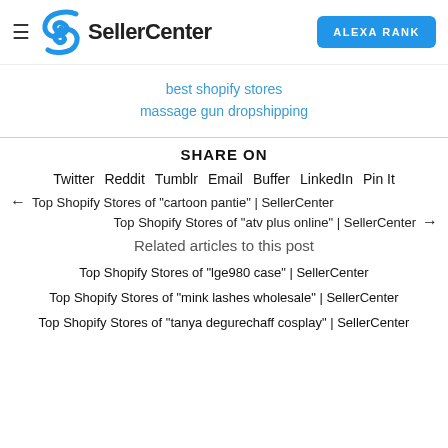SellerCenter | ALEXA RANK
best shopify stores
massage gun dropshipping
SHARE ON
Twitter  Reddit  Tumblr  Email  Buffer  LinkedIn  Pin It
← Top Shopify Stores of "cartoon pantie" | SellerCenter
Top Shopify Stores of "atv plus online" | SellerCenter →
Related articles to this post
Top Shopify Stores of "lge980 case" | SellerCenter
Top Shopify Stores of "mink lashes wholesale" | SellerCenter
Top Shopify Stores of "tanya degurechaff cosplay" | SellerCenter